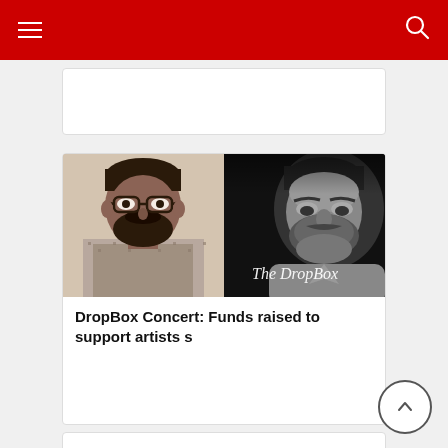Navigation bar with hamburger menu and search icon
[Figure (photo): Partially visible white card at top of page]
[Figure (photo): Two photos side by side: left is a color photo of a man with glasses and beard in a patterned shirt; right is a black and white photo of a bearded man with text overlay reading 'The DropBox']
DropBox Concert: Funds raised to support artists s
[Figure (photo): Partially visible white card at bottom of page]